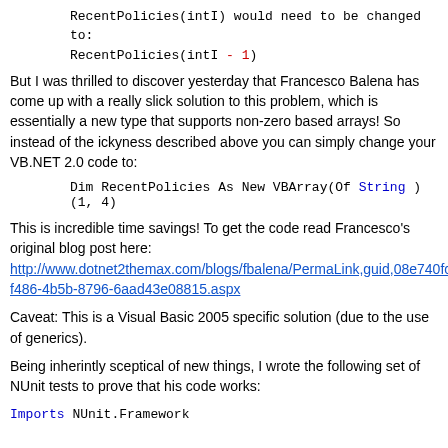RecentPolicies(intI) would need to be changed to:
But I was thrilled to discover yesterday that Francesco Balena has come up with a really slick solution to this problem, which is essentially a new type that supports non-zero based arrays! So instead of the ickyness described above you can simply change your VB.NET 2.0 code to:
This is incredible time savings! To get the code read Francesco's original blog post here:
http://www.dotnet2themax.com/blogs/fbalena/PermaLink,guid,08e740fc-f486-4b5b-8796-6aad43e08815.aspx
Caveat: This is a Visual Basic 2005 specific solution (due to the use of generics).
Being inherintly sceptical of new things, I wrote the following set of NUnit tests to prove that his code works:
Imports NUnit.Framework
_
Public Class VBArrayTests
_
Public Sub TestLowerBound()
Dim _array As New VBArray(Of Short)(1, 3)
Assert.AreEqual(1, LBound(_array), "Lower bound